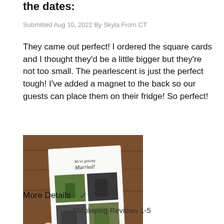the dates:
Submitted Aug 10, 2022 By Skyla From CT
They came out perfect! I ordered the square cards and I thought they'd be a little bigger but they're not too small. The pearlescent is just the perfect tough! I've added a magnet to the back so our guests can place them on their fridge! So perfect!
[Figure (photo): A hand holding a square save-the-date card with a photo collage, displayed against a wooden background.]
More Details ∨
Displaying Reviews 1-5